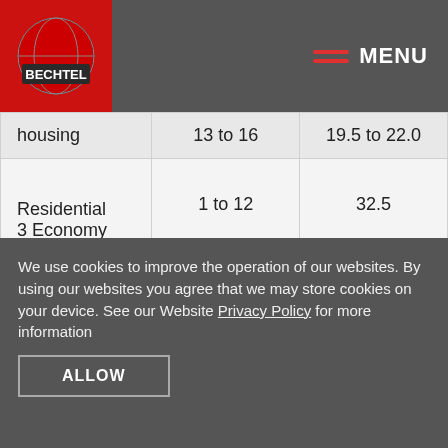BECHTEL | MENU
| housing | 13 to 16 | 19.5 to 22.0 |
| Residential 3 Economy | 1 to 12 | 32.5 |
We use cookies to improve the operation of our websites. By using our websites you agree that we may store cookies on your device. See our Website Privacy Policy for more information
ALLOW